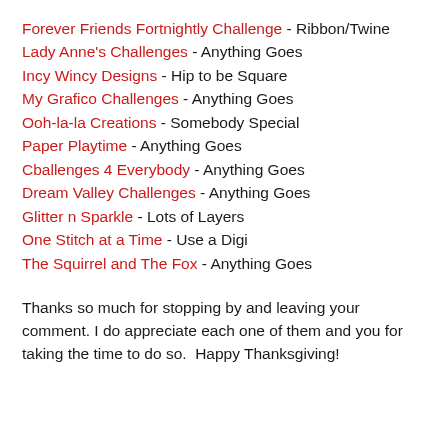Forever Friends Fortnightly Challenge - Ribbon/Twine
Lady Anne's Challenges - Anything Goes
Incy Wincy Designs - Hip to be Square
My Grafico Challenges - Anything Goes
Ooh-la-la Creations - Somebody Special
Paper Playtime - Anything Goes
Cballenges 4 Everybody - Anything Goes
Dream Valley Challenges - Anything Goes
Glitter n Sparkle - Lots of Layers
One Stitch at a Time - Use a Digi
The Squirrel and The Fox - Anything Goes
Thanks so much for stopping by and leaving your comment. I do appreciate each one of them and you for taking the time to do so.  Happy Thanksgiving!